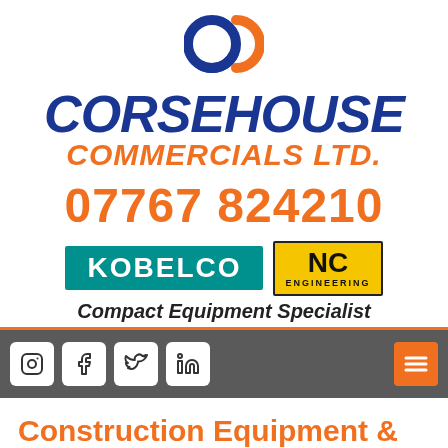[Figure (logo): Corsehouse Commercials Ltd logo with blue and orange interlinked circles icon, blue italic 'CORSEHOUSE' text and orange italic 'COMMERCIALS LTD.' text below]
07767 824210
[Figure (logo): Kobelco brand badge (teal background, white text) and NC Engineering badge (yellow background, black text) side by side]
Compact Equipment Specialist
[Figure (infographic): Navigation bar with Instagram, Facebook, Twitter, LinkedIn social icons (white rounded squares) on grey background, and orange hamburger menu button on right]
Construction Equipment & Used Plant Sales